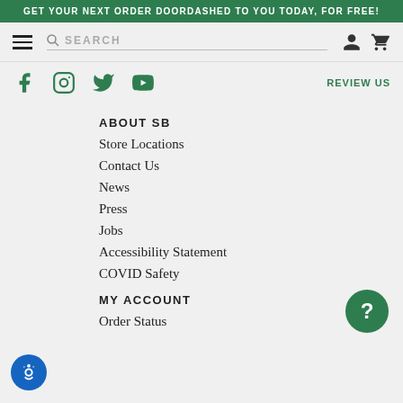GET YOUR NEXT ORDER DOORDASHED TO YOU TODAY, FOR FREE!
[Figure (screenshot): Navigation bar with hamburger menu, search bar, user icon and cart icon]
[Figure (screenshot): Social media icons row: Facebook, Instagram, Twitter, YouTube, and REVIEW US text link]
ABOUT SB
Store Locations
Contact Us
News
Press
Jobs
Accessibility Statement
COVID Safety
MY ACCOUNT
Order Status